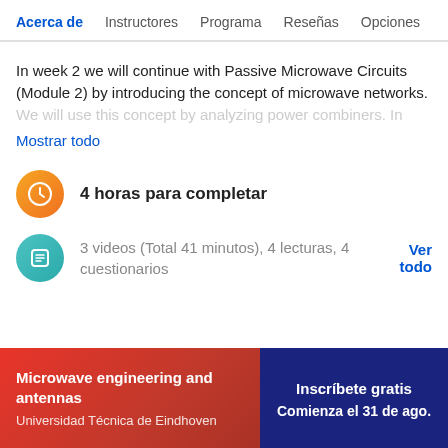Acerca de  Instructores  Programa  Reseñas  Opciones
In week 2 we will continue with Passive Microwave Circuits (Module 2) by introducing the concept of microwave networks. We will use this concept by analyzing power combiners. In
Mostrar todo
4 horas para completar
3 videos (Total 41 minutos), 4 lecturas, 4 cuestionarios
Ver todo
Microwave engineering and antennas
Universidad Técnica de Eindhoven
Inscríbete gratis
Comienza el 31 de ago.